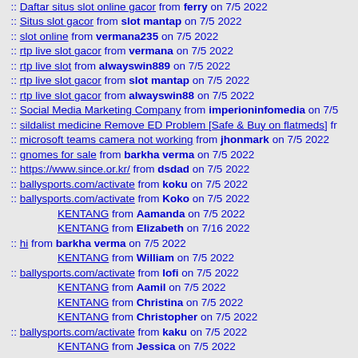:: Daftar situs slot online gacor from ferry on 7/5 2022
:: Situs slot gacor from slot mantap on 7/5 2022
:: slot online from vermana235 on 7/5 2022
:: rtp live slot gacor from vermana on 7/5 2022
:: rtp live slot from alwayswin889 on 7/5 2022
:: rtp live slot gacor from slot mantap on 7/5 2022
:: rtp live slot gacor from alwayswin88 on 7/5 2022
:: Social Media Marketing Company from imperioninfomedia on 7/5
:: sildalist medicine Remove ED Problem [Safe & Buy on flatmeds] fr
:: microsoft teams camera not working from jhonmark on 7/5 2022
:: gnomes for sale from barkha verma on 7/5 2022
:: https://www.since.or.kr/ from dsdad on 7/5 2022
:: ballysports.com/activate from koku on 7/5 2022
:: ballysports.com/activate from Koko on 7/5 2022
KENTANG from Aamanda on 7/5 2022
KENTANG from Elizabeth on 7/16 2022
:: hi from barkha verma on 7/5 2022
KENTANG from William on 7/5 2022
:: ballysports.com/activate from lofi on 7/5 2022
KENTANG from Aamil on 7/5 2022
KENTANG from Christina on 7/5 2022
KENTANG from Christopher on 7/5 2022
:: ballysports.com/activate from kaku on 7/5 2022
KENTANG from Jessica on 7/5 2022
:: Best Selling villas in Bangalore from Prestige City Sarjapur on 7/5
KENTANG from Nicholas on 7/5 2022
KENTANG from John on 7/6 2022
:: ballysports.com/activate from Jarry on 7/5 2022
KENTANG from Heather on 7/5 2022
:: ballysports.com/activate from Hang on on 7/5 2022